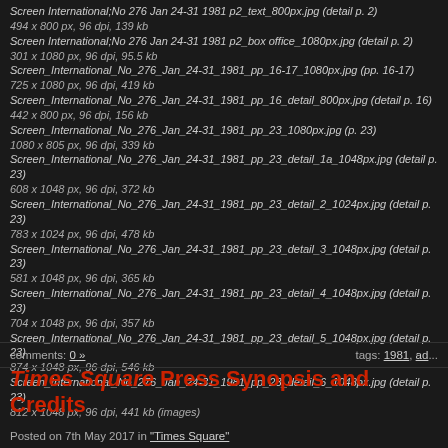Screen International;No 276 Jan 24-31 1981 p2_text_800px.jpg (detail p. 2)
494 x 800 px, 96 dpi, 139 kb
Screen International;No 276 Jan 24-31 1981 p2_box office_1080px.jpg (detail p. 2)
301 x 1080 px, 96 dpi, 95.5 kb
Screen_International_No_276_Jan_24-31_1981_pp_16-17_1080px.jpg (pp. 16-17)
725 x 1080 px, 96 dpi, 419 kb
Screen_International_No_276_Jan_24-31_1981_pp_16_detail_800px.jpg (detail p. 16)
442 x 800 px, 96 dpi, 156 kb
Screen_International_No_276_Jan_24-31_1981_pp_23_1080px.jpg (p. 23)
1080 x 805 px, 96 dpi, 339 kb
Screen_International_No_276_Jan_24-31_1981_pp_23_detail_1a_1048px.jpg (detail p. 23)
608 x 1048 px, 96 dpi, 372 kb
Screen_International_No_276_Jan_24-31_1981_pp_23_detail_2_1024px.jpg (detail p. 23)
783 x 1024 px, 96 dpi, 478 kb
Screen_International_No_276_Jan_24-31_1981_pp_23_detail_3_1048px.jpg (detail p. 23)
581 x 1048 px, 96 dpi, 365 kb
Screen_International_No_276_Jan_24-31_1981_pp_23_detail_4_1048px.jpg (detail p. 23)
704 x 1048 px, 96 dpi, 357 kb
Screen_International_No_276_Jan_24-31_1981_pp_23_detail_5_1048px.jpg (detail p. 23)
874 x 1048 px, 96 dpi, 546 kb
Screen_International_No_276_Jan_24-31_1981_pp_23_detail_6_1048px.jpg (detail p. 23)
812 x 1048 px, 96 dpi, 441 kb (images)
comments: 0 »   tags: 1981, ad...
Times Square Press Synopsis and Credits
Posted on 7th May 2017 in "Times Square"